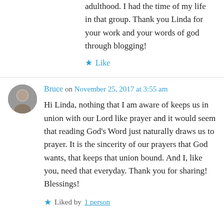adulthood. I had the time of my life in that group. Thank you Linda for your work and your words of god through blogging!
★ Like
Bruce on November 25, 2017 at 3:55 am
Hi Linda, nothing that I am aware of keeps us in union with our Lord like prayer and it would seem that reading God's Word just naturally draws us to prayer. It is the sincerity of our prayers that God wants, that keeps that union bound. And I, like you, need that everyday. Thank you for sharing! Blessings!
★ Liked by 1 person